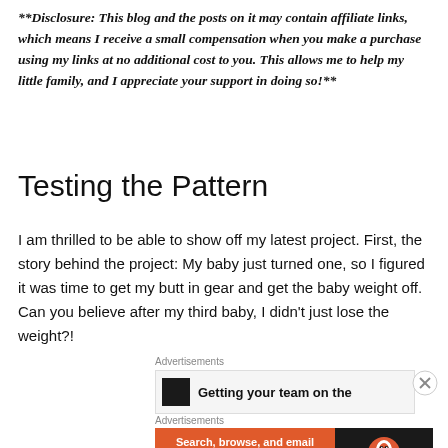**Disclosure: This blog and the posts on it may contain affiliate links, which means I receive a small compensation when you make a purchase using my links at no additional cost to you. This allows me to help my little family, and I appreciate your support in doing so!**
Testing the Pattern
I am thrilled to be able to show off my latest project. First, the story behind the project: My baby just turned one, so I figured it was time to get my butt in gear and get the baby weight off. Can you believe after my third baby, I didn't just lose the weight?!
Advertisements
[Figure (screenshot): Advertisement banner showing 'Getting your team on the' with a dark icon on the left and a close (X) button on the right]
Advertisements
[Figure (screenshot): DuckDuckGo advertisement: orange left panel with 'Search, browse, and email with more privacy. All in One Free App' and dark right panel with DuckDuckGo logo]